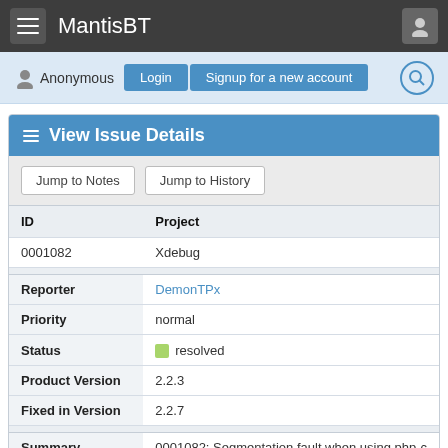MantisBT
Anonymous  Login  Signup for a new account
View Issue Details
Jump to Notes  Jump to History
| ID | Project |
| --- | --- |
| 0001082 | Xdebug |
| Reporter | DemonTPx |
| Priority | normal |
| Status | resolved |
| Product Version | 2.2.3 |
| Fixed in Version | 2.2.7 |
| Summary | 0001082: Segmentation fault when using php-c |